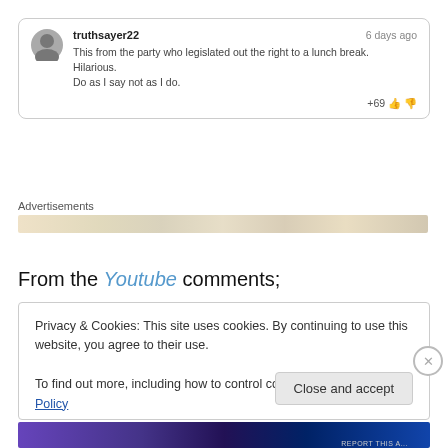truthsayer22 | 6 days ago
This from the party who legislated out the right to a lunch break.
Hilarious.
Do as I say not as I do.
+69
Advertisements
From the Youtube comments;
Privacy & Cookies: This site uses cookies. By continuing to use this website, you agree to their use.
To find out more, including how to control cookies, see here: Cookie Policy
Close and accept